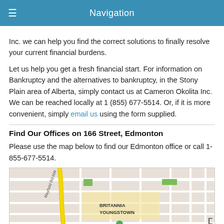Navigation
Inc. we can help you find the correct solutions to finally resolve your current financial burdens.
Let us help you get a fresh financial start. For information on Bankruptcy and the alternatives to bankruptcy, in the Stony Plain area of Alberta, simply contact us at Cameron Okolita Inc. We can be reached locally at 1 (855) 677-5514. Or, if it is more convenient, simply email us using the form supplied.
Find Our Offices on 166 Street, Edmonton
Please use the map below to find our Edmonton office or call 1-855-677-5514.
[Figure (map): Street map showing Britannia Youngstown area with Mayfield Rd NW visible, in Edmonton.]